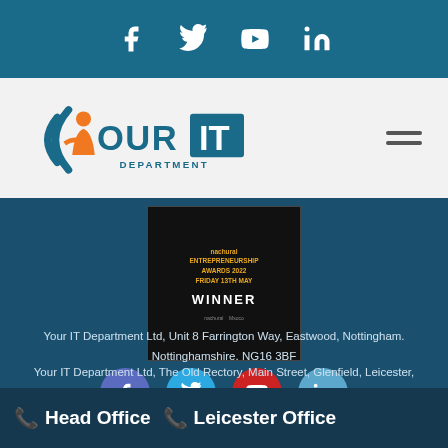Social media icons: Facebook, Twitter, YouTube, LinkedIn
[Figure (logo): Your IT Department logo with orange person icon and teal text]
[Figure (photo): Nachural Entrepreneurship Awards 2022 WINNER badge on dark background]
[Figure (other): Social media circle icons: Facebook (purple), Twitter (blue), YouTube (red), LinkedIn (light blue)]
Your IT Department Ltd, Unit 8 Farrington Way, Eastwood, Nottingham. Nottinghamshire. NG16 3BF
Your IT Department Ltd, The Old Rectory, Main Street, Glenfield, Leicester,
Head Office  Leicester Office